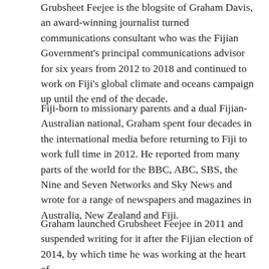Grubsheet Feejee is the blogsite of Graham Davis, an award-winning journalist turned communications consultant who was the Fijian Government's principal communications advisor for six years from 2012 to 2018 and continued to work on Fiji's global climate and oceans campaign up until the end of the decade.
Fiji-born to missionary parents and a dual Fijian-Australian national, Graham spent four decades in the international media before returning to Fiji to work full time in 2012. He reported from many parts of the world for the BBC, ABC, SBS, the Nine and Seven Networks and Sky News and wrote for a range of newspapers and magazines in Australia, New Zealand and Fiji.
Graham launched Grubsheet Feejee in 2011 and suspended writing for it after the Fijian election of 2014, by which time he was working at the heart of